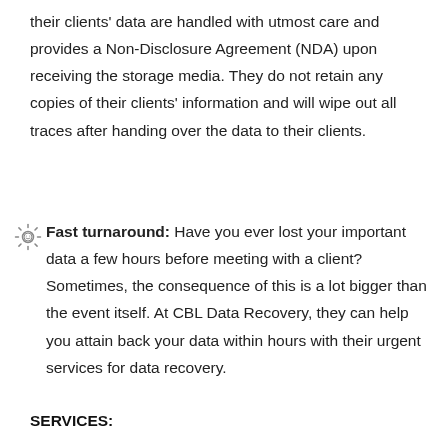their clients' data are handled with utmost care and provides a Non-Disclosure Agreement (NDA) upon receiving the storage media. They do not retain any copies of their clients' information and will wipe out all traces after handing over the data to their clients.
Fast turnaround: Have you ever lost your important data a few hours before meeting with a client? Sometimes, the consequence of this is a lot bigger than the event itself. At CBL Data Recovery, they can help you attain back your data within hours with their urgent services for data recovery.
SERVICES: